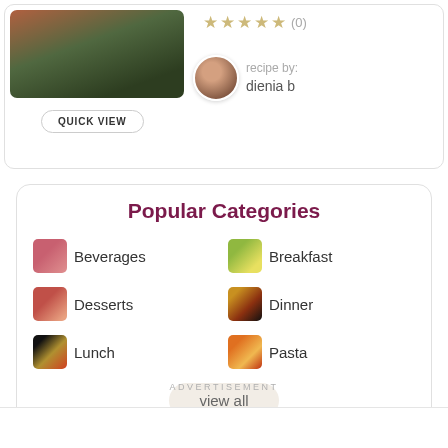[Figure (photo): Food photo showing pasta/noodles with toppings]
QUICK VIEW
★★★★★ (0)
recipe by:
dienia b
[Figure (photo): Avatar photo of dienia b]
Popular Categories
Beverages
Breakfast
Desserts
Dinner
Lunch
Pasta
view all
ADVERTISEMENT